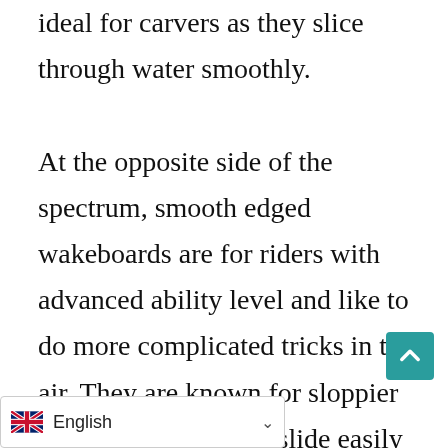ideal for carvers as they slice through water smoothly.

At the opposite side of the spectrum, smooth edged wakeboards are for riders with advanced ability level and like to do more complicated tricks in the air. They are known for sloppier landings but can still slide easily on the water. The main selling point of boards with smooth e[...] don't catch an edge as